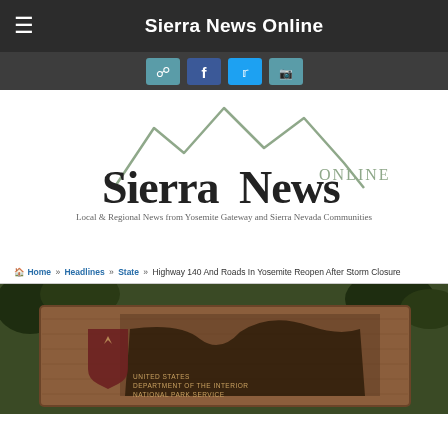Sierra News Online
[Figure (logo): Sierra News Online logo with mountain silhouette graphic and tagline: Local & Regional News from Yosemite Gateway and Sierra Nevada Communities]
Local & Regional News from Yosemite Gateway and Sierra Nevada Communities
Home » Headlines » State » Highway 140 And Roads In Yosemite Reopen After Storm Closure
[Figure (photo): Photograph of a National Park Service wooden sign for Yosemite, showing carved relief map of Yosemite valley, with text United States Department of the Interior National Park Service]